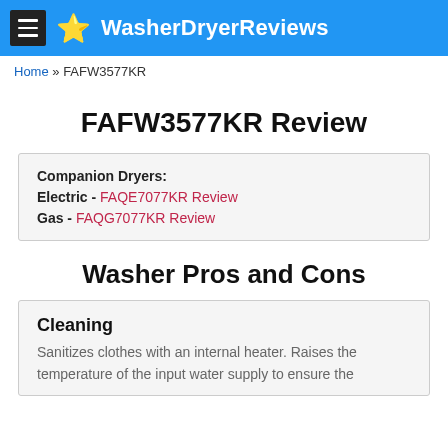WasherDryerReviews
Home » FAFW3577KR
FAFW3577KR Review
Companion Dryers:
Electric - FAQE7077KR Review
Gas - FAQG7077KR Review
Washer Pros and Cons
Cleaning
Sanitizes clothes with an internal heater. Raises the temperature of the input water supply to ensure the